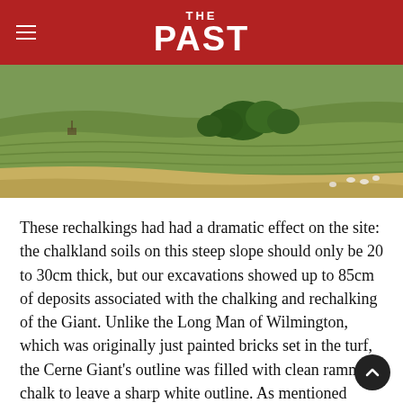THE PAST
[Figure (photo): Aerial or hillside landscape photo showing terraced green hillside with trees and sheep grazing, characteristic of English downland countryside.]
These rechalkings had had a dramatic effect on the site: the chalkland soils on this steep slope should only be 20 to 30cm thick, but our excavations showed up to 85cm of deposits associated with the chalking and rechalking of the Giant. Unlike the Long Man of Wilmington, which was originally just painted bricks set in the turf, the Cerne Giant's outline was filled with clean rammed chalk to leave a sharp white outline. As mentioned above, this process was repeated on several occasions over the last four centuries, and bands of different types of chalk – chalk rubble, chalky marl, and kibbled (water-rolled) chalk – had been used in different